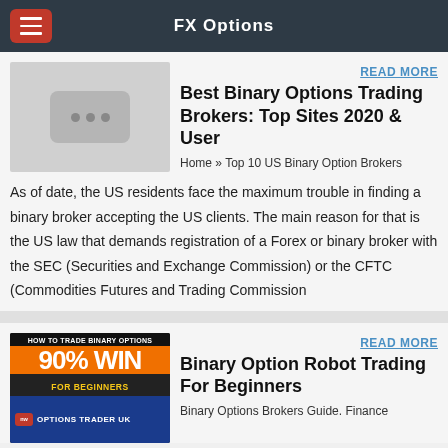FX Options
[Figure (screenshot): Placeholder image thumbnail with three dots icon]
READ MORE
Best Binary Options Trading Brokers: Top Sites 2020 & User
Home » Top 10 US Binary Option Brokers
As of date, the US residents face the maximum trouble in finding a binary broker accepting the US clients. The main reason for that is the US law that demands registration of a Forex or binary broker with the SEC (Securities and Exchange Commission) or the CFTC (Commodities Futures and Trading Commission
[Figure (screenshot): HOW TO TRADE BINARY OPTIONS 90% WIN FOR BEGINNERS - OPTIONS TRADER UK banner image]
READ MORE
Binary Option Robot Trading For Beginners
Binary Options Brokers Guide. Finance